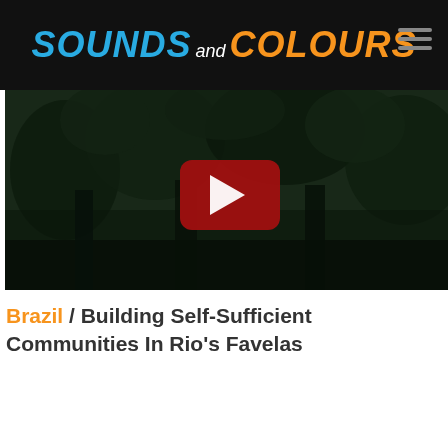SOUNDS and COLOURS
[Figure (screenshot): Dark video thumbnail of a forested/jungle scene with a YouTube-style play button overlay in red]
Brazil / Building Self-Sufficient Communities In Rio's Favelas